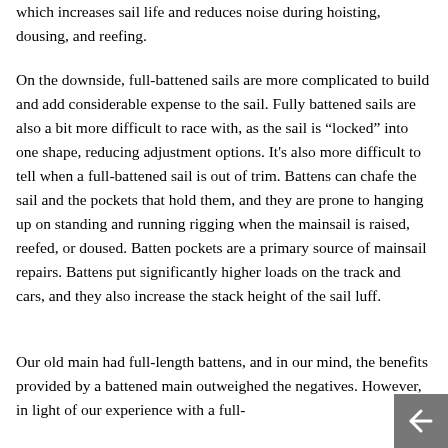which increases sail life and reduces noise during hoisting, dousing, and reefing.
On the downside, full-battened sails are more complicated to build and add considerable expense to the sail. Fully battened sails are also a bit more difficult to race with, as the sail is “locked” into one shape, reducing adjustment options. It's also more difficult to tell when a full-battened sail is out of trim. Battens can chafe the sail and the pockets that hold them, and they are prone to hanging up on standing and running rigging when the mainsail is raised, reefed, or doused. Batten pockets are a primary source of mainsail repairs. Battens put significantly higher loads on the track and cars, and they also increase the stack height of the sail luff.
Our old main had full-length battens, and in our mind, the benefits provided by a battened main outweighed the negatives. However, in light of our experience with a full-